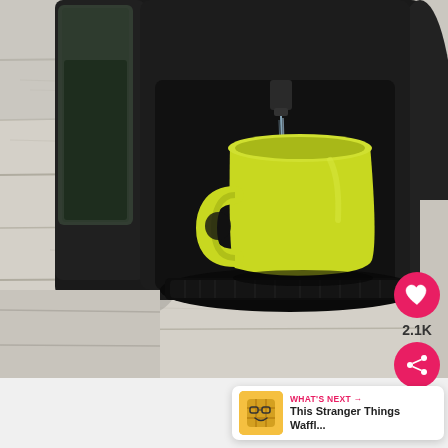[Figure (photo): A yellow-green (lime/chartreuse) ceramic coffee mug sitting on the drip tray of a black single-serve coffee maker (Keurig-style). Hot water or coffee is streaming from the machine's nozzle into the mug. The coffee maker sits on a weathered white painted wood plank floor/surface. The background shows the machine's water reservoir on the left.]
[Figure (infographic): UI overlay elements: a pink/red circular heart (like/save) button, a count label reading 2.1K, and a pink/red circular share button with a share icon, overlaid on the lower-right of the main photo.]
[Figure (screenshot): A 'WHAT'S NEXT' recommendation card in the lower-right area. Shows a thumbnail of a Stranger Things waffle emoji/character, header text 'WHAT'S NEXT →' in pink, and title 'This Stranger Things Waffl...' in bold dark text.]